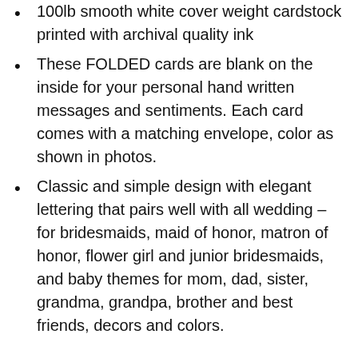100lb smooth white cover weight cardstock printed with archival quality ink
These FOLDED cards are blank on the inside for your personal hand written messages and sentiments. Each card comes with a matching envelope, color as shown in photos.
Classic and simple design with elegant lettering that pairs well with all wedding – for bridesmaids, maid of honor, matron of honor, flower girl and junior bridesmaids, and baby themes for mom, dad, sister, grandma, grandpa, brother and best friends, decors and colors.
2. ATAILOVE Wedding Flower Girl Basket and Ring Bearer Pillow...